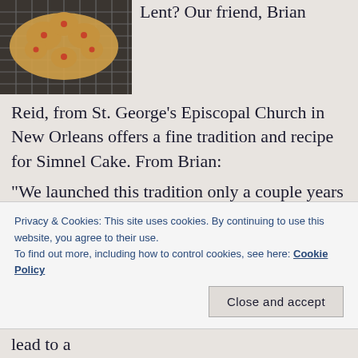[Figure (photo): Photo of a baked good (simnel cake or decorated bread) on a wire rack, viewed from above, partially cropped.]
Lent? Our friend, Brian Reid, from St. George's Episcopal Church in New Orleans offers a fine tradition and recipe for Simnel Cake. From Brian:
"We launched this tradition only a couple years ago at St George's – serving the cakes after the service on the fourth Sunday of Lent.  A few or more people will bake and bring one. This year it's been announced that anyone can bring any cake of their choosing, and we're making a
Privacy & Cookies: This site uses cookies. By continuing to use this website, you agree to their use.
To find out more, including how to control cookies, see here: Cookie Policy
is above, is free, which is our Mother.' This lead to a